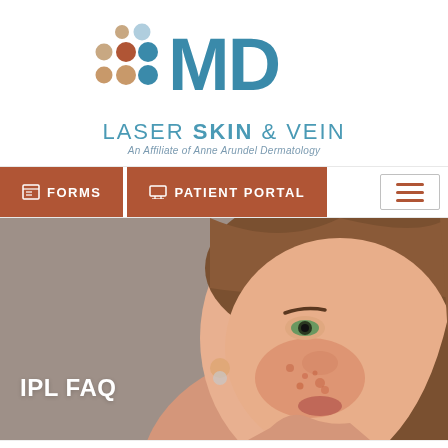[Figure (logo): MD Laser Skin & Vein logo with colorful dots arranged in a grid pattern next to 'MD' text, subtitle 'LASER SKIN & VEIN', affiliate text 'An Affiliate of Anne Arundel Dermatology']
FORMS
PATIENT PORTAL
[Figure (photo): Close-up photo of a young woman with reddish freckled skin touching her face, shown against a gray background. Hero banner image for IPL FAQ page.]
IPL FAQ
Home | IPL FAQ